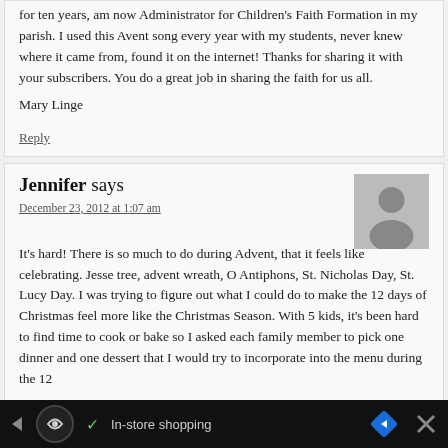for ten years, am now Administrator for Children's Faith Formation in my parish. I used this Avent song every year with my students, never knew where it came from, found it on the internet! Thanks for sharing it with your subscribers. You do a great job in sharing the faith for us all.
Mary Linge
Reply
Jennifer says
December 23, 2012 at 1:07 am
It's hard! There is so much to do during Advent, that it feels like celebrating. Jesse tree, advent wreath, O Antiphons, St. Nicholas Day, St. Lucy Day. I was trying to figure out what I could do to make the 12 days of Christmas feel more like the Christmas Season. With 5 kids, it's been hard to find time to cook or bake so I asked each family member to pick one dinner and one dessert that I would try to incorporate into the menu during the 12
In-store shopping